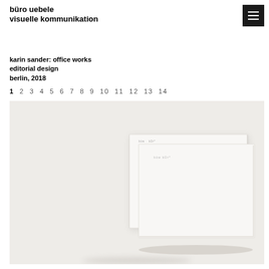büro uebele
visuelle kommunikation
karin sander: office works
editorial design
berlin, 2018
1 2 3 4 5 6 7 8 9 10 11 12 13 14
[Figure (photo): Photo of a minimalist white book or publication resting on a light grey/off-white background, positioned slightly right of center. The book appears to have very faint text on its cover.]